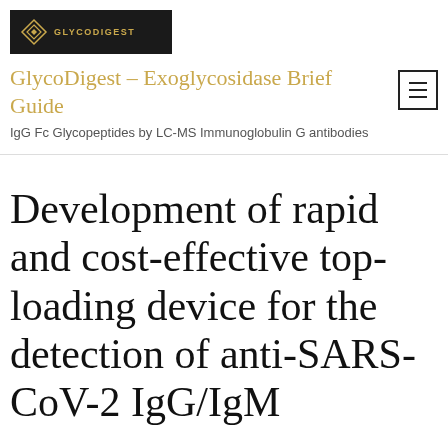[Figure (logo): GlycoDigest logo with diamond geometric symbol on dark background]
GlycoDigest – Exoglycosidase Brief Guide
IgG Fc Glycopeptides by LC-MS Immunoglobulin G antibodies
Development of rapid and cost-effective top-loading device for the detection of anti-SARS-CoV-2 IgG/IgM